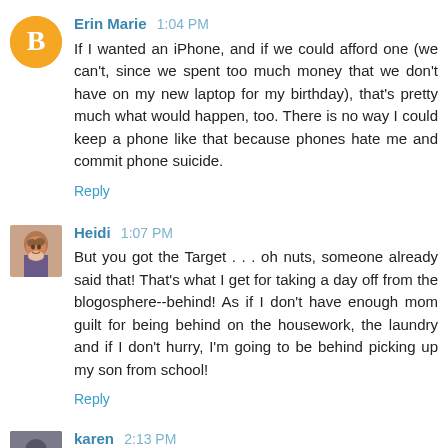Erin Marie 1:04 PM
If I wanted an iPhone, and if we could afford one (we can't, since we spent too much money that we don't have on my new laptop for my birthday), that's pretty much what would happen, too. There is no way I could keep a phone like that because phones hate me and commit phone suicide.
Reply
Heidi 1:07 PM
But you got the Target . . . oh nuts, someone already said that! That's what I get for taking a day off from the blogosphere--behind! As if I don't have enough mom guilt for being behind on the housework, the laundry and if I don't hurry, I'm going to be behind picking up my son from school!
Reply
karen 2:13 PM